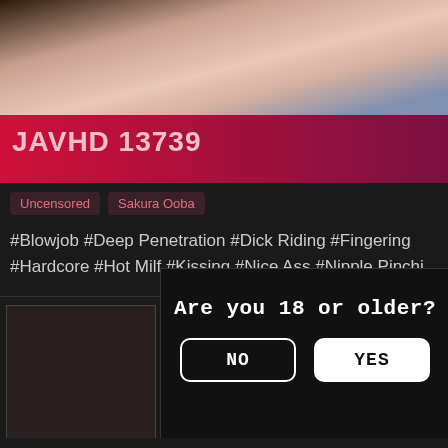[Figure (photo): Cropped adult content photo showing skin tones and a purple/blue background in upper portion]
JAVHD 13739
Uncensored
Sakura Ooba
#Blowjob #Deep Penetration #Dick Riding #Fingering #Hardcore #Hot Milf #Kissing #Nice Ass #Nipple Pinchi
Are you 18 or older?
NO
YES